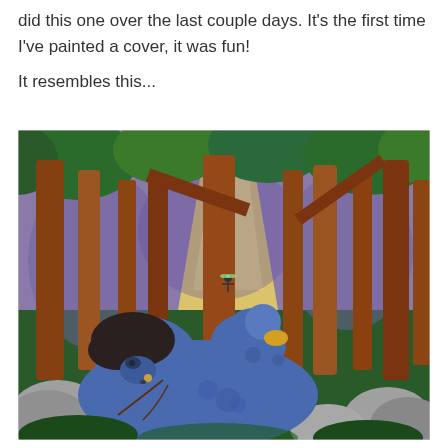did this one over the last couple days. It's the first time I've painted a cover, it was fun!

It resembles this...
[Figure (illustration): A watercolor/painted illustration showing a fantasy scene in a forest. In the foreground, a large blue creature (troll or monster) with dark hair lies among gray rocks, looking upward. On top of it sits a smaller blue creature. In the background, tall brown tree trunks rise through a purple-tinted forest, with a bright golden-yellow light source in the center middle ground. A tiny fairy-like figure appears near the light. The scene has a magical, storybook quality.]